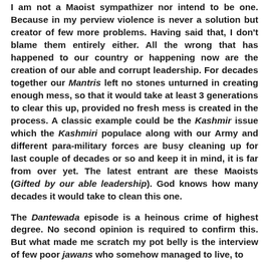I am not a Maoist sympathizer nor intend to be one. Because in my perview violence is never a solution but creator of few more problems. Having said that, I don't blame them entirely either. All the wrong that has happened to our country or happening now are the creation of our able and corrupt leadership. For decades together our Mantris left no stones unturned in creating enough mess, so that it would take at least 3 generations to clear this up, provided no fresh mess is created in the process. A classic example could be the Kashmir issue which the Kashmiri populace along with our Army and different para-military forces are busy cleaning up for last couple of decades or so and keep it in mind, it is far from over yet. The latest entrant are these Maoists (Gifted by our able leadership). God knows how many decades it would take to clean this one.

The Dantewada episode is a heinous crime of highest degree. No second opinion is required to confirm this. But what made me scratch my pot belly is the interview of few poor jawans who somehow managed to live, to tell the story. Some of them said how they had to hide...